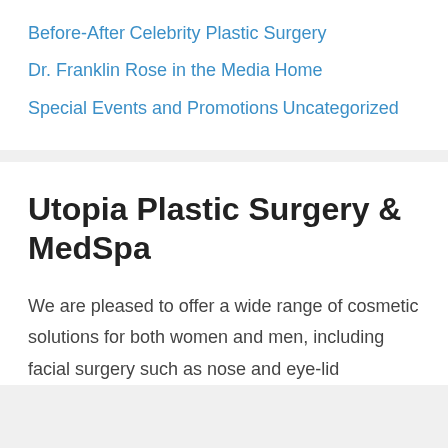Before-After
Celebrity Plastic Surgery
Dr. Franklin Rose in the Media
Home
Special Events and Promotions
Uncategorized
Utopia Plastic Surgery & MedSpa
We are pleased to offer a wide range of cosmetic solutions for both women and men, including facial surgery such as nose and eye-lid